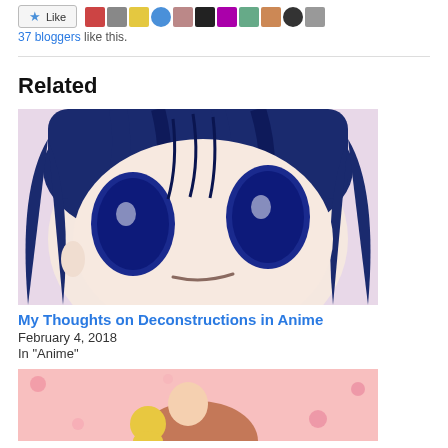[Figure (screenshot): WordPress-style Like button with star icon and a strip of blogger avatar thumbnails]
37 bloggers like this.
Related
[Figure (photo): Anime character close-up with large blue eyes and blue hair on a light pink background]
My Thoughts on Deconstructions in Anime
February 4, 2018
In "Anime"
[Figure (photo): Anime scene with characters on a pink floral background]